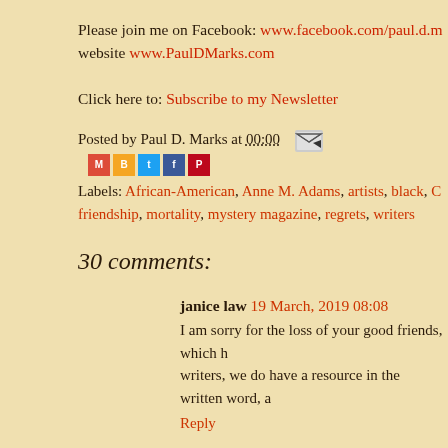Please join me on Facebook: www.facebook.com/paul.d.m... website www.PaulDMarks.com
Click here to: Subscribe to my Newsletter
Posted by Paul D. Marks at 00:00
Labels: African-American, Anne M. Adams, artists, black, C... friendship, mortality, mystery magazine, regrets, writers
30 comments:
janice law 19 March, 2019 08:08
I am sorry for the loss of your good friends, which h... writers, we do have a resource in the written word, a...
Reply